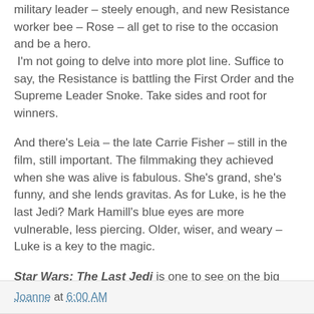military leader – steely enough, and new Resistance worker bee – Rose – all get to rise to the occasion and be a hero.  I'm not going to delve into more plot line. Suffice to say, the Resistance is battling the First Order and the Supreme Leader Snoke. Take sides and root for winners.
And there's Leia – the late Carrie Fisher – still in the film, still important. The filmmaking they achieved when she was alive is fabulous. She's grand, she's funny, and she lends gravitas. As for Luke, is he the last Jedi? Mark Hamill's blue eyes are more vulnerable, less piercing. Older, wiser, and weary – Luke is a key to the magic.
Star Wars: The Last Jedi is one to see on the big screen. I know it came out before Christmas, but if you haven't seen it yet, what are you waiting for? A galaxy far, far away….
Joanne at 6:00 AM